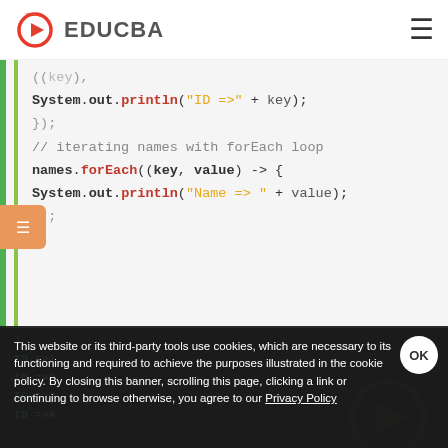EDUCBA
[Figure (screenshot): Java code snippet showing System.out.println with forEach loop iterating IDs and names from a map]
This website or its third-party tools use cookies, which are necessary to its functioning and required to achieve the purposes illustrated in the cookie policy. By closing this banner, scrolling this page, clicking a link or continuing to browse otherwise, you agree to our Privacy Policy